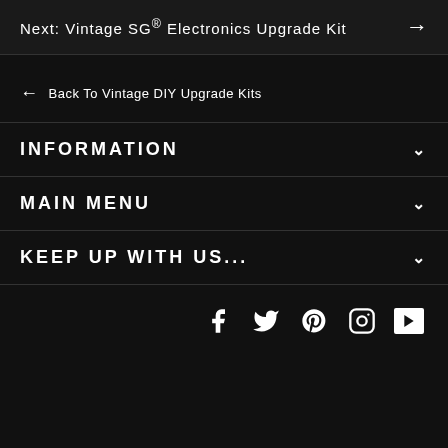Next: Vintage SG® Electronics Upgrade Kit →
← Back to Vintage DIY Upgrade Kits
INFORMATION
MAIN MENU
KEEP UP WITH US...
Social icons: Facebook, Twitter, Pinterest, Instagram, YouTube